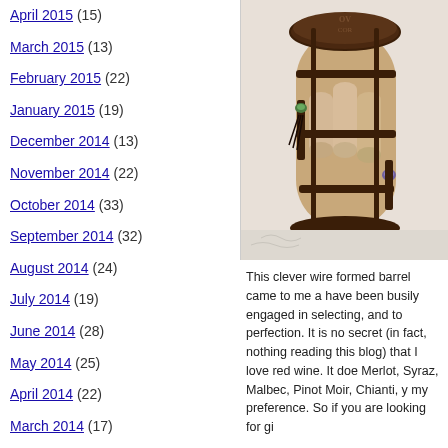April 2015 (15)
March 2015 (13)
February 2015 (22)
January 2015 (19)
December 2014 (13)
November 2014 (22)
October 2014 (33)
September 2014 (32)
August 2014 (24)
July 2014 (19)
June 2014 (28)
May 2014 (25)
April 2014 (22)
March 2014 (17)
February 2014 (20)
January 2014 (14)
December 2013 (12)
[Figure (photo): A decorative wire-formed barrel/basket holding wine corks, with a dark brown metal frame shaped like a barrel with decorative metal accents including colored gem-like stones. The barrel has a round top with embossed text and sits on a textured white surface.]
This clever wire formed barrel came to me a have been busily engaged in selecting, and to perfection. It is no secret (in fact, nothing reading this blog) that I love red wine. It doe Merlot, Syraz, Malbec, Pinot Moir, Chianti, y my preference. So if you are looking for gi